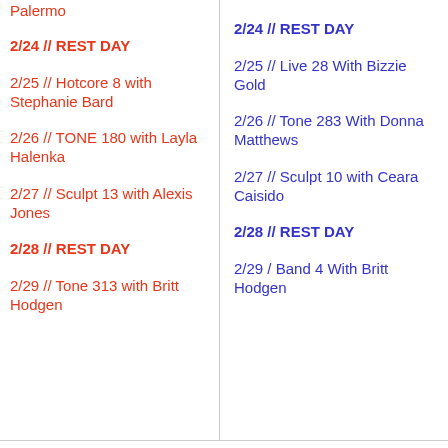Palermo
2/24 //  REST DAY
2/25 //  Hotcore 8 with Stephanie Bard
2/26 //  TONE 180 with Layla Halenka
2/27 //  Sculpt 13 with Alexis Jones
2/28 //  REST DAY
2/29 //  Tone 313 with Britt Hodgen
2/24 //  REST DAY
2/25 //  Live 28 With Bizzie Gold
2/26 //  Tone 283 With Donna Matthews
2/27 //  Sculpt 10 with Ceara Caisido
2/28 //  REST DAY
2/29 /  Band 4 With Britt Hodgen